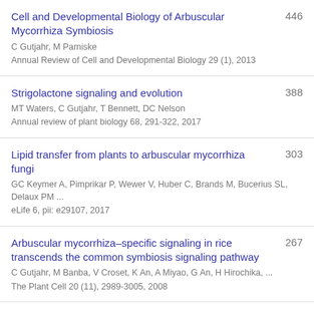Cell and Developmental Biology of Arbuscular Mycorrhiza Symbiosis
C Gutjahr, M Parniske
Annual Review of Cell and Developmental Biology 29 (1), 2013
446
Strigolactone signaling and evolution
MT Waters, C Gutjahr, T Bennett, DC Nelson
Annual review of plant biology 68, 291-322, 2017
388
Lipid transfer from plants to arbuscular mycorrhiza fungi
GC Keymer A, Pimprikar P, Wewer V, Huber C, Brands M, Bucerius SL, Delaux PM ...
eLife 6, pii: e29107, 2017
303
Arbuscular mycorrhiza–specific signaling in rice transcends the common symbiosis signaling pathway
C Gutjahr, M Banba, V Croset, K An, A Miyao, G An, H Hirochika, ...
The Plant Cell 20 (11), 2989-3005, 2008
267
Symbiosis… (partial, cut off)